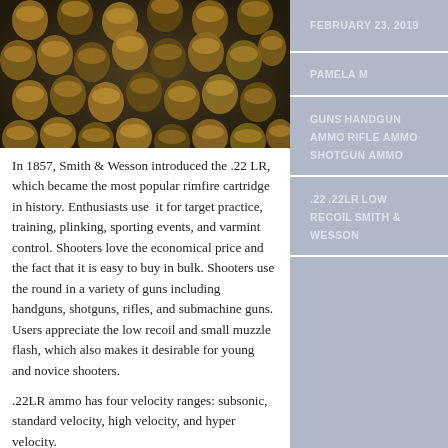[Figure (photo): Pile of brass bullet cartridges and ammunition rounds viewed from above]
In 1857, Smith & Wesson introduced the .22 LR, which became the most popular rimfire cartridge in history. Enthusiasts use it for target practice, training, plinking, sporting events, and varmint control. Shooters love the economical price and the fact that it is easy to buy in bulk. Shooters use the round in a variety of guns including handguns, shotguns, rifles, and submachine guns. Users appreciate the low recoil and small muzzle flash, which also makes it desirable for young and novice shooters.
.22LR ammo has four velocity ranges: subsonic, standard velocity, high velocity, and hyper velocity.
A Brief History
FEBRUARY 23, 2019
PAMELA M
GUNS  HANDGUN AMMO  RIFLE AMMO  SHOTGUN AMMO
.22  .22LR  LOW RECOIL  SMITH & WESSON